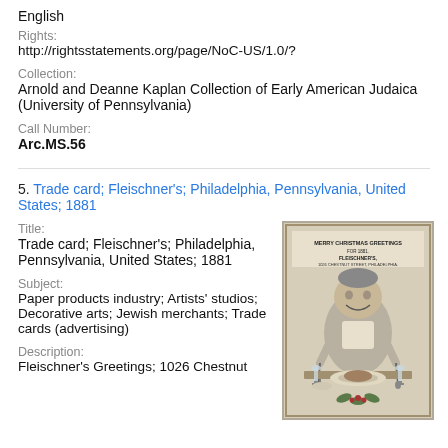English
Rights:
http://rightsstatements.org/page/NoC-US/1.0/?
Collection:
Arnold and Deanne Kaplan Collection of Early American Judaica (University of Pennsylvania)
Call Number:
Arc.MS.56
5. Trade card; Fleischner's; Philadelphia, Pennsylvania, United States; 1881
Title:
Trade card; Fleischner's; Philadelphia, Pennsylvania, United States; 1881
Subject:
Paper products industry; Artists' studios; Decorative arts; Jewish merchants; Trade cards (advertising)
Description:
Fleischner's Greetings; 1026 Chestnut
[Figure (photo): Trade card image showing a jolly figure seated at a dinner table with text 'Merry Christmas Greetings for 1881, Fleischner's, 1026 Chestnut Street, Philadelphia' at top]